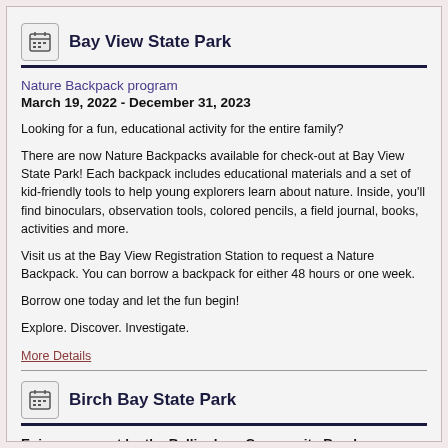Bay View State Park
Nature Backpack program
March 19, 2022 - December 31, 2023
Looking for a fun, educational activity for the entire family?
There are now Nature Backpacks available for check-out at Bay View State Park! Each backpack includes educational materials and a set of kid-friendly tools to help young explorers learn about nature. Inside, you'll find binoculars, observation tools, colored pencils, a field journal, books, activities and more.
Visit us at the Bay View Registration Station to request a Nature Backpack. You can borrow a backpack for either 48 hours or one week.
Borrow one today and let the fun begin!
Explore. Discover. Investigate.
More Details
Birch Bay State Park
Enjoy a concert by the Bellingham Community Band